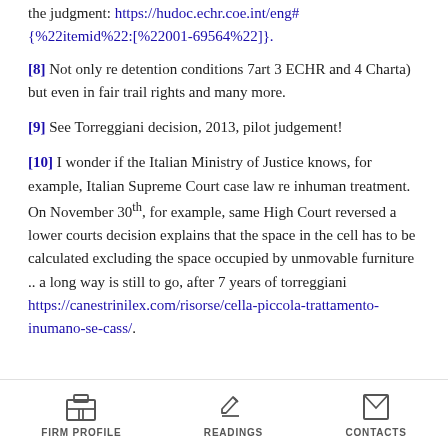the judgment: https://hudoc.echr.coe.int/eng#{"%22itemid%22:["%22001-69564%22]}.
[8] Not only re detention conditions 7art 3 ECHR and 4 Charta) but even in fair trail rights and many more.
[9] See Torreggiani decision, 2013, pilot judgement!
[10] I wonder if the Italian Ministry of Justice knows, for example, Italian Supreme Court case law re inhuman treatment. On November 30th, for example, same High Court reversed a lower courts decision explains that the space in the cell has to be calculated excluding the space occupied by unmovable furniture .. a long way is still to go, after 7 years of torreggiani https://canestrinilex.com/risorse/cella-piccola-trattamento-inumano-se-cass/.
FIRM PROFILE | READINGS | CONTACTS